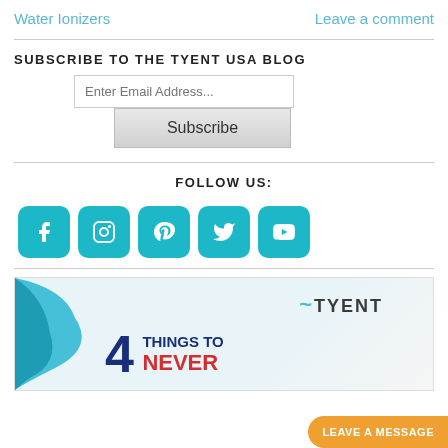Water Ionizers    Leave a comment
SUBSCRIBE TO THE TYENT USA BLOG
Enter Email Address...
Subscribe
FOLLOW US:
[Figure (infographic): Five social media icons (Facebook, Instagram, Pinterest, Twitter, YouTube) in teal/cyan rounded square buttons]
[Figure (infographic): Tyent USA blog banner with blue decorative blob on left, Tyent logo top right, large blue number 4 and text reading THINGS TO NEVER, woman figure on right, on light gray/blue background]
LEAVE A MESSAGE